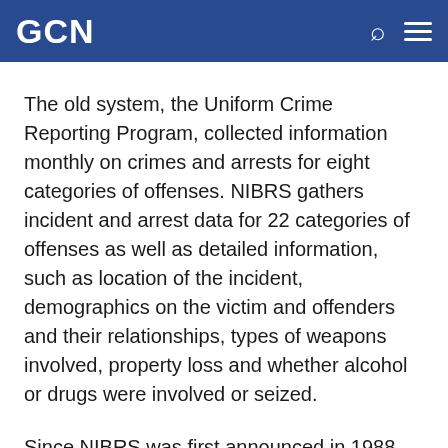GCN
The old system, the Uniform Crime Reporting Program, collected information monthly on crimes and arrests for eight categories of offenses. NIBRS gathers incident and arrest data for 22 categories of offenses as well as detailed information, such as location of the incident, demographics on the victim and offenders and their relationships, types of weapons involved, property loss and whether alcohol or drugs were involved or seized.
Since NIBRS was first announced in 1988, law enforcement agencies could choose to submit their crime data to either the old system or the new. When the old platform was retired last year, many